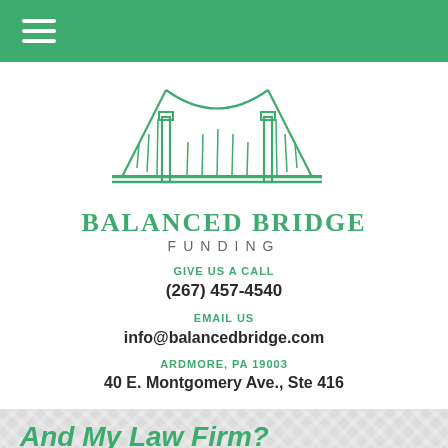Navigation menu bar (hamburger icon)
[Figure (logo): Balanced Bridge Funding logo: green suspension bridge illustration above the company name 'BALANCED BRIDGE FUNDING']
GIVE US A CALL
(267) 457-4540
EMAIL US
info@balancedbridge.com
ARDMORE, PA 19003
40 E. Montgomery Ave., Ste 416
And My Law Firm?
Of the four main types of legal funding available to attorneys, two are very similar to those available to